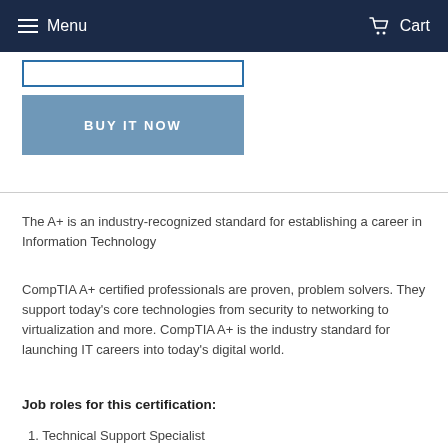Menu  Cart
[Figure (other): Input box (form field) and BUY IT NOW button]
The A+ is an industry-recognized standard for establishing a career in Information Technology
CompTIA A+ certified professionals are proven, problem solvers. They support today's core technologies from security to networking to virtualization and more. CompTIA A+ is the industry standard for launching IT careers into today's digital world.
Job roles for this certification:
1. Technical Support Specialist